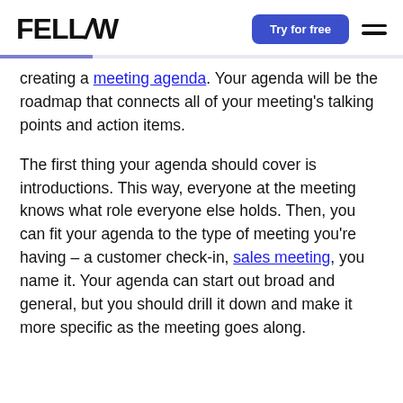FELLOW | Try for free
creating a meeting agenda. Your agenda will be the roadmap that connects all of your meeting's talking points and action items.
The first thing your agenda should cover is introductions. This way, everyone at the meeting knows what role everyone else holds. Then, you can fit your agenda to the type of meeting you're having – a customer check-in, sales meeting, you name it. Your agenda can start out broad and general, but you should drill it down and make it more specific as the meeting goes along.